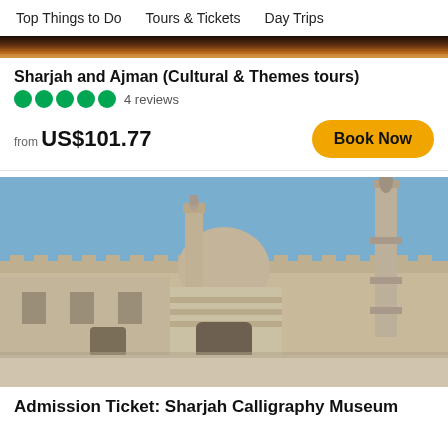Top Things to Do   Tours & Tickets   Day Trips
[Figure (photo): Partial banner image, dark tones]
Sharjah and Ajman (Cultural & Themes tours)
5 green circles  4 reviews
from US$101.77
Book Now
[Figure (photo): Photo of a mosque with dome and minarets under blue sky, sandy-colored stone walls]
Admission Ticket: Sharjah Calligraphy Museum